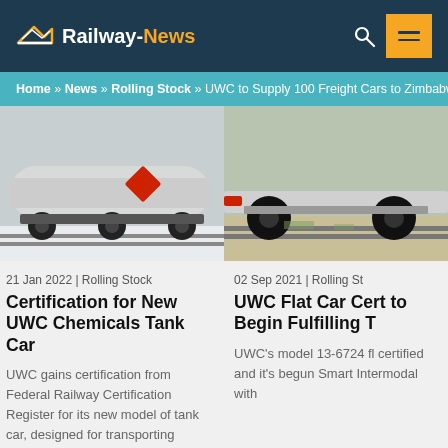Railway-News
Home » News » Rolling Stock » UWC to Supply 100 Freight Cars to Zimbabwe
[Figure (photo): White chemical tank car on railway tracks in snow]
21 Jan 2022 | Rolling Stock
Certification for New UWC Chemicals Tank Car
UWC gains certification from Federal Railway Certification Register for its new model of tank car, designed for transporting chemicals.
[Figure (photo): UWC flat car on railway tracks, close-up of wheels and coupling]
02 Sep 2021 | Rolling St
UWC Flat Car Cert to Begin Fulfilling T
UWC's model 13-6724 fl certified and it's begun Smart Intermodal with